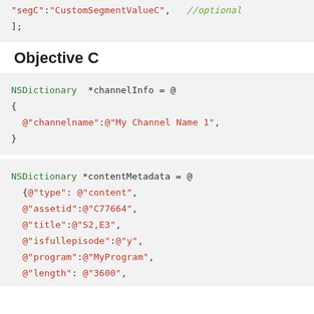"segC":"CustomSegmentValueC",  //optional
];
Objective C
NSDictionary  *channelInfo = @
{
  @"channelname":@"My Channel Name 1",
}
NSDictionary *contentMetadata = @
  {@"type": @"content",
  @"assetid":@"C77664",
  @"title":@"S2,E3",
  @"isfullepisode":@"y",
  @"program":@"MyProgram",
  @"length": @"3600",